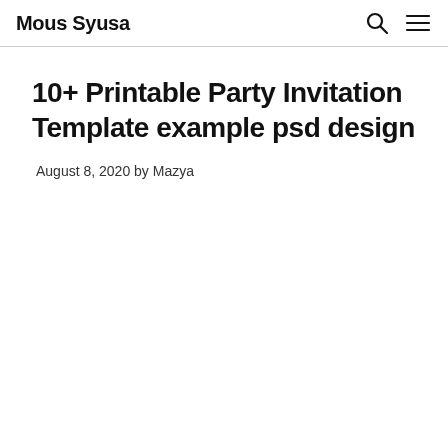Mous Syusa
10+ Printable Party Invitation Template example psd design
August 8, 2020 by Mazya